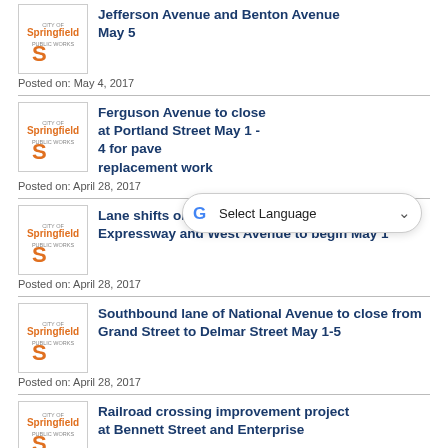[Figure (logo): City of Springfield Public Works logo]
Jefferson Avenue and Benton Avenue May 5
Posted on: May 4, 2017
[Figure (logo): City of Springfield Public Works logo]
Ferguson Avenue to close at Portland Street May 1 - 4 for pave replacement work
Posted on: April 28, 2017
[Figure (logo): City of Springfield Public Works logo]
Lane shifts on College Street between Chestnut Expressway and West Avenue to begin May 1
Posted on: April 28, 2017
[Figure (logo): City of Springfield Public Works logo]
Southbound lane of National Avenue to close from Grand Street to Delmar Street May 1-5
Posted on: April 28, 2017
[Figure (logo): City of Springfield Public Works logo]
Railroad crossing improvement project at Bennett Street and Enterprise